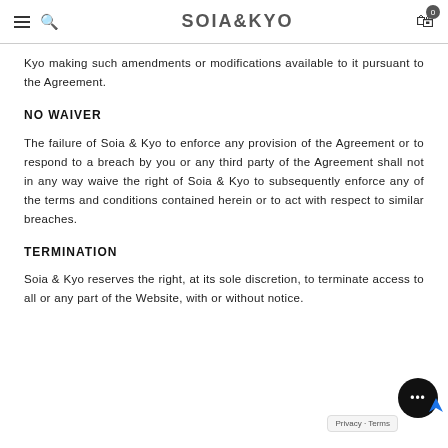SOIA&KYO
Kyo making such amendments or modifications available to it pursuant to the Agreement.
NO WAIVER
The failure of Soia & Kyo to enforce any provision of the Agreement or to respond to a breach by you or any third party of the Agreement shall not in any way waive the right of Soia & Kyo to subsequently enforce any of the terms and conditions contained herein or to act with respect to similar breaches.
TERMINATION
Soia & Kyo reserves the right, at its sole discretion, to terminate access to all or any part of the Website, with or without notice.